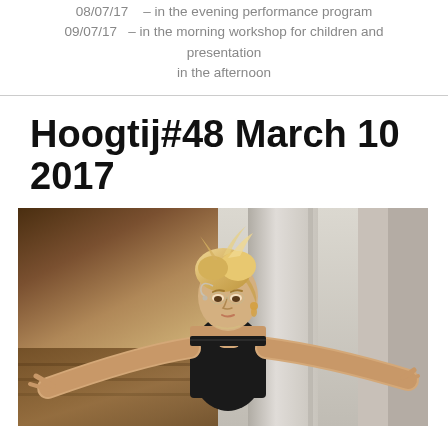08/07/17    – in the evening performance program
09/07/17   – in the morning workshop for children and presentation in the afternoon
Hoogtij#48 March 10 2017
[Figure (photo): A woman with blonde hair wearing a black strapless top, leaning forward with arms outstretched, in a performance or dance pose. She appears to be wearing a headset microphone. The background shows a light-colored interior space.]